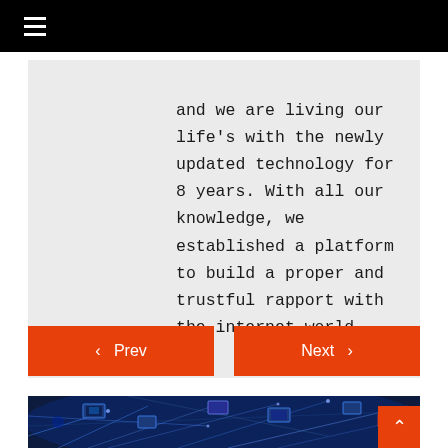≡ (hamburger menu)
and we are living our life's with the newly updated technology for 8 years. With all our knowledge, we established a platform to build a proper and trustful rapport with the internet world.
< Prev
Next >
[Figure (photo): A dark blue digital network visualization with interconnected lines and small floating screens/displays showing various media content, representing internet connectivity and digital technology]